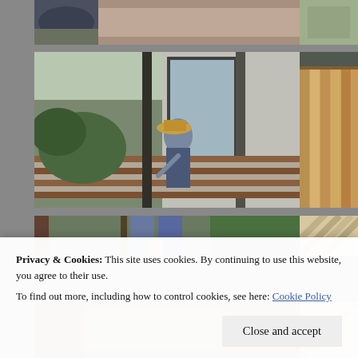[Figure (photo): Top row left: outdoor driveway/path with parked car visible, pinkish concrete surface]
[Figure (photo): Top row right: close-up of textured green/grey surface, partially visible]
[Figure (photo): Middle row left: person in hat bending over to work on wooden deck boards near sliding glass door of house]
[Figure (photo): Middle row right: close-up of cedar/redwood vertical wood planks, partially visible]
[Figure (photo): Third row left: partial view of person in jeans standing near door holding something, with greenery visible]
[Figure (photo): Third row right: close-up of diagonal wood planks, light wood color]
[Figure (photo): Bottom row left: partially visible, appears to show construction/deck work scene]
[Figure (photo): Bottom row right: partially visible wood surface]
Privacy & Cookies: This site uses cookies. By continuing to use this website, you agree to their use.
To find out more, including how to control cookies, see here: Cookie Policy
Close and accept